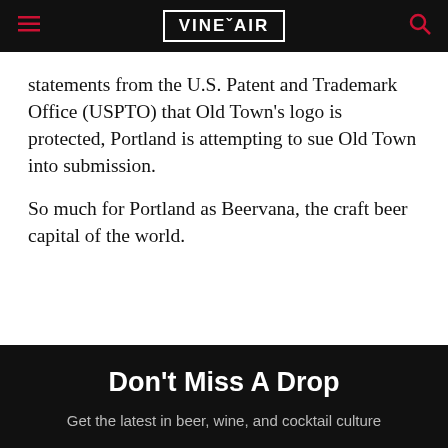VINEPAIR
statements from the U.S. Patent and Trademark Office (USPTO) that Old Town's logo is protected, Portland is attempting to sue Old Town into submission.
So much for Portland as Beervana, the craft beer capital of the world.
Don't Miss A Drop
Get the latest in beer, wine, and cocktail culture